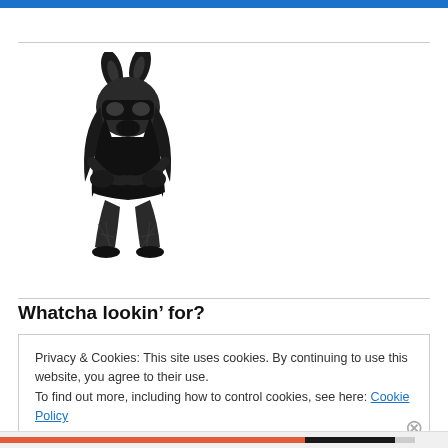[Figure (photo): Person in black cat/bunny costume with mask and ears, crouching, wearing fishnet stockings and dark clothing]
Whatcha lookin’ for?
Privacy & Cookies: This site uses cookies. By continuing to use this website, you agree to their use.
To find out more, including how to control cookies, see here: Cookie Policy
Close and accept